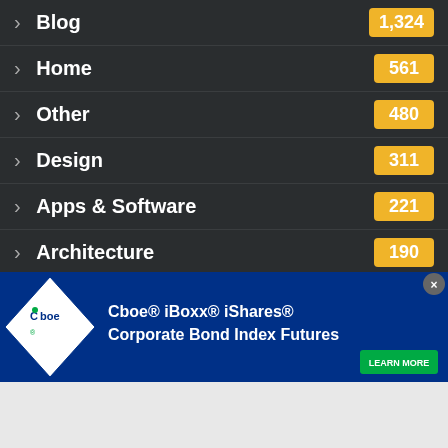> Blog 1,324
> Home 561
> Other 480
> Design 311
> Apps & Software 221
> Architecture 190
> Art 123
Categories
[Figure (screenshot): Cboe advertisement banner: Cboe® iBoxx® iShares® Corporate Bond Index Futures with LEARN MORE button]